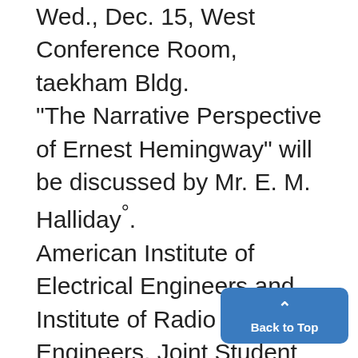Wed., Dec. 15, West Conference Room, taekham Bldg. "The Narrative Perspective of Ernest Hemingway" will be discussed by Mr. E. M. Halliday°. American Institute of Electrical Engineers and Institute of Radio Engineers, Joint Student Branch: Joint meeting with the Michigan Section of AIEE. Mr. W. L. Manning of the Kouhlman Electric Co. of Bay City will spea on "The Testing of Modern Tra formers with Laboratory Light